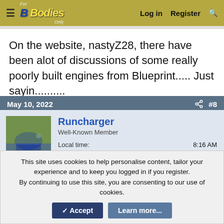For B Bodies Only — Log in  Register
On the website, nastyZ28, there have been alot of discussions of some really poorly built engines from Blueprint..... Just sayin..........
May 10, 2022   #8
Runcharger
Well-Known Member
Local time: 8:16 AM
Joined: Apr 22, 2020
Messages: 875
Reaction score: 1,466
Location: Vernon
This site uses cookies to help personalise content, tailor your experience and to keep you logged in if you register.
By continuing to use this site, you are consenting to our use of cookies.